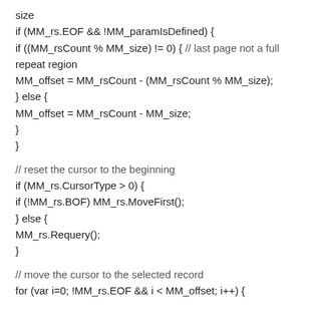size
if (MM_rs.EOF && !MM_paramIsDefined) {
if ((MM_rsCount % MM_size) != 0) { // last page not a full repeat region
MM_offset = MM_rsCount - (MM_rsCount % MM_size);
} else {
MM_offset = MM_rsCount - MM_size;
}
}

// reset the cursor to the beginning
if (MM_rs.CursorType > 0) {
if (!MM_rs.BOF) MM_rs.MoveFirst();
} else {
MM_rs.Requery();
}

// move the cursor to the selected record
for (var i=0; !MM_rs.EOF && i < MM_offset; i++) {